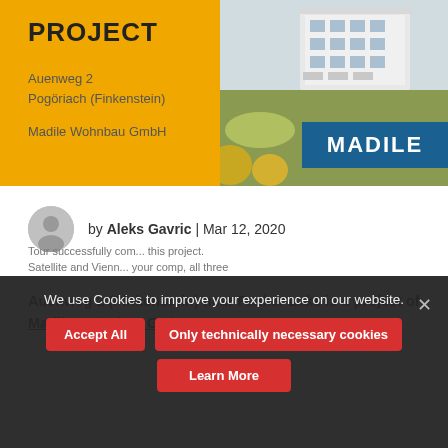PROJECT
Auenweg 2
Pogöriach (Finkenstein)
Madile Wohnbau GmbH
[Figure (photo): Exterior photo of modern residential building with green lawn, overlaid with MADILE logo badge on blue background]
by Aleks Gavric | Mar 12, 2020
Auenweg 2 (Finkenstein) near Faaker Lake is a project of Madile Wohnbau GmbH
We use Cookies to improve your experience on our website.
Accept All
Only technically necessary cookies
Learn More
Tour successfully com... this project. Satellite and Vienn... your comp, all three